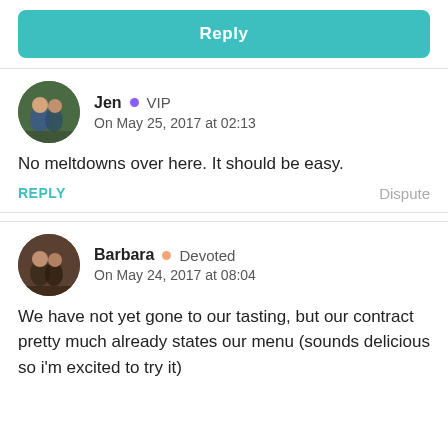[Figure (other): Teal Reply button]
[Figure (other): User avatar for Jen (couple photo)]
Jen • VIP
On May 25, 2017 at 02:13
No meltdowns over here. It should be easy.
REPLY    Dispute
[Figure (other): User avatar for Barbara (couple photo)]
Barbara • Devoted
On May 24, 2017 at 08:04
We have not yet gone to our tasting, but our contract pretty much already states our menu (sounds delicious so i'm excited to try it)